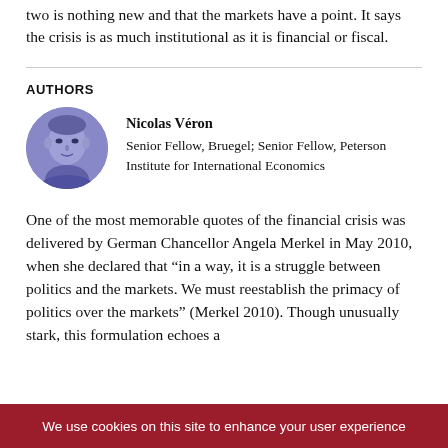two is nothing new and that the markets have a point. It says the crisis is as much institutional as it is financial or fiscal.
AUTHORS
[Figure (photo): Circular headshot photo of Nicolas Véron, a man in professional attire, rendered in blue-toned grayscale.]
Nicolas Véron
Senior Fellow, Bruegel; Senior Fellow, Peterson Institute for International Economics
One of the most memorable quotes of the financial crisis was delivered by German Chancellor Angela Merkel in May 2010, when she declared that “in a way, it is a struggle between politics and the markets. We must reestablish the primacy of politics over the markets” (Merkel 2010). Though unusually stark, this formulation echoes a
We use cookies on this site to enhance your user experience